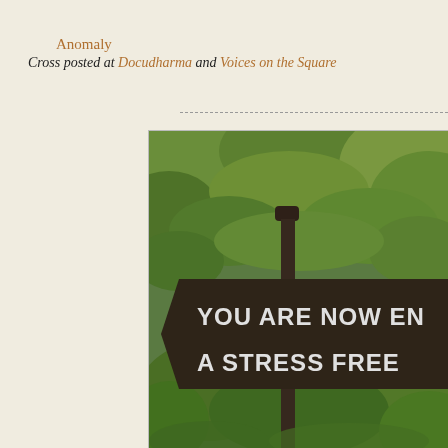Anomaly
Cross posted at Docudharma and Voices on the Square
[Figure (photo): A weathered wooden sign post in lush green foliage reading 'YOU ARE NOW EN[TERING] A STRESS FREE [ZONE]' in white painted letters on a dark wood arrow-shaped sign board.]